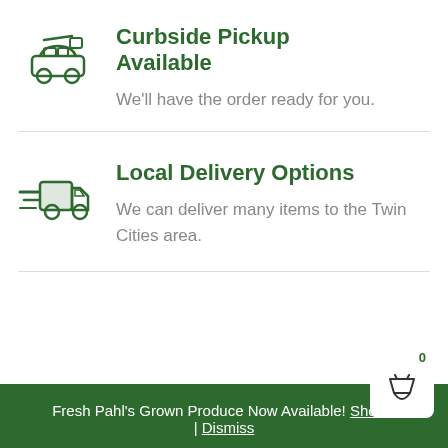[Figure (illustration): Green outline icon of a car with open trunk/hatchback for curbside pickup]
Curbside Pickup Available
We'll have the order ready for you.
[Figure (illustration): Green icon of a fast delivery truck with speed lines]
Local Delivery Options
We can deliver many items to the Twin Cities area.
Fresh Pahl's Grown Produce Now Available! Shop Now! | Dismiss